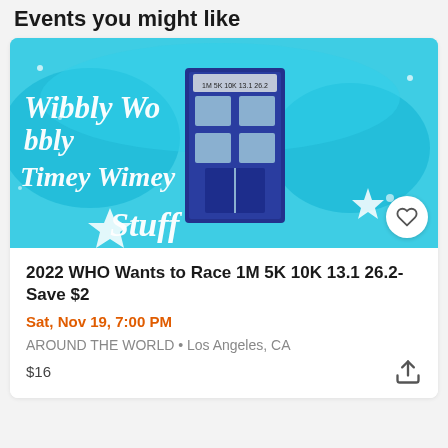Events you might like
[Figure (photo): Colorful glittery image with text 'Wibbly Wobbly Timey Wimey Stuff' in white script on a teal/blue glitter background, featuring a TARDIS (blue police box) graphic and a race medal shape with '1M 5K 10K 13.1 26.2' text]
2022 WHO Wants to Race 1M 5K 10K 13.1 26.2-Save $2
Sat, Nov 19, 7:00 PM
AROUND THE WORLD • Los Angeles, CA
$16